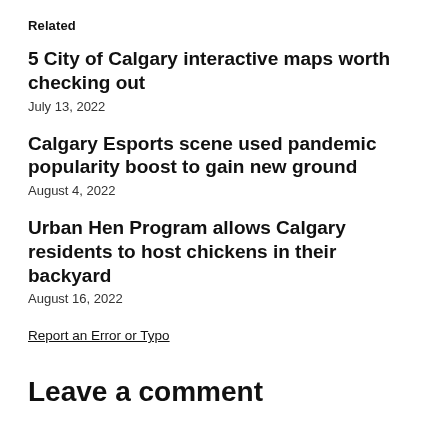Related
5 City of Calgary interactive maps worth checking out
July 13, 2022
Calgary Esports scene used pandemic popularity boost to gain new ground
August 4, 2022
Urban Hen Program allows Calgary residents to host chickens in their backyard
August 16, 2022
Report an Error or Typo
Leave a comment